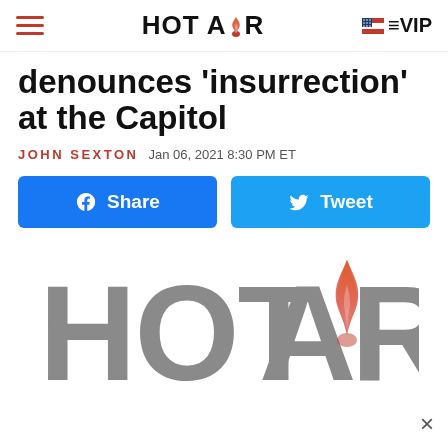HOTAiR  VIP
denounces 'insurrection' at the Capitol
JOHN SEXTON  Jan 06, 2021 8:30 PM ET
[Figure (other): Facebook Share button and Twitter Tweet button]
[Figure (logo): HotAir logo - large gray text HOTAiR with flame icon replacing the dot in the i]